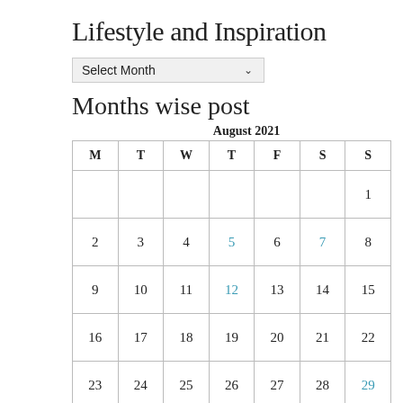Lifestyle and Inspiration
[Figure (screenshot): A dropdown select widget labeled 'Select Month' with a chevron arrow]
Months wise post
| M | T | W | T | F | S | S |
| --- | --- | --- | --- | --- | --- | --- |
|  |  |  |  |  |  | 1 |
| 2 | 3 | 4 | 5 | 6 | 7 | 8 |
| 9 | 10 | 11 | 12 | 13 | 14 | 15 |
| 16 | 17 | 18 | 19 | 20 | 21 | 22 |
| 23 | 24 | 25 | 26 | 27 | 28 | 29 |